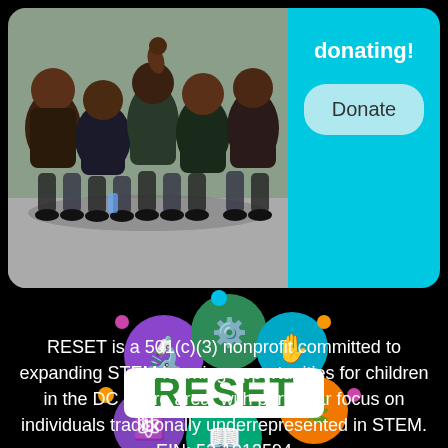[Figure (photo): Group photo of children posing together outdoors]
donating!
Donate
[Figure (logo): RESET organization logo with colorful science and learning icons surrounding a white banner with green text 'RESET']
RESET is a 501(c)(3) nonprofit committed to expanding STEM learning opportunities for children in the DC Metro area, with particular focus on individuals traditionally underrepresented in STEM. EIN: 52-1913594